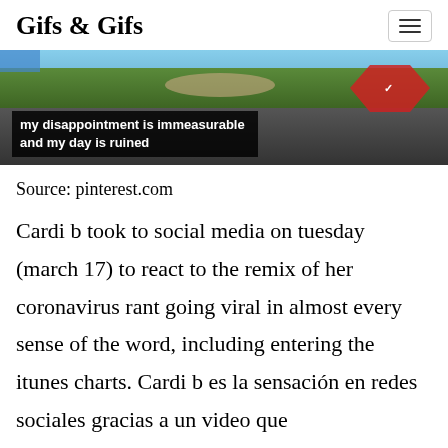Gifs & Gifs
[Figure (photo): A meme image showing outdoor scene with text overlay reading 'my disappointment is immeasurable and my day is ruined']
Source: pinterest.com
Cardi b took to social media on tuesday (march 17) to react to the remix of her coronavirus rant going viral in almost every sense of the word, including entering the itunes charts. Cardi b es la sensación en redes sociales gracias a un video que